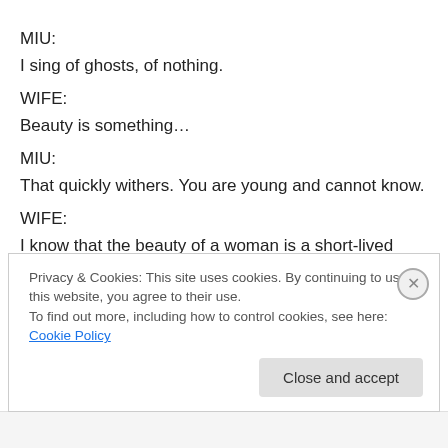MIU:
I sing of ghosts, of nothing.
WIFE:
Beauty is something…
MIU:
That quickly withers. You are young and cannot know.
WIFE:
I know that the beauty of a woman is a short-lived piece of luck…
MIU:
That destroys the men who love her before it fades. She
Privacy & Cookies: This site uses cookies. By continuing to use this website, you agree to their use.
To find out more, including how to control cookies, see here: Cookie Policy